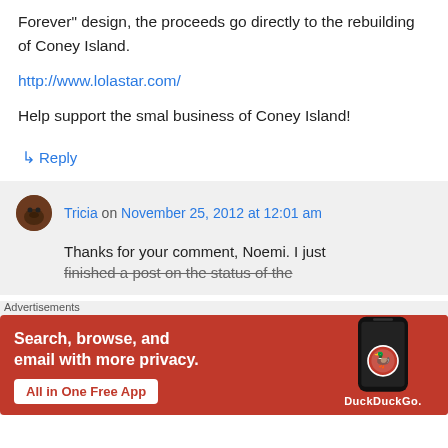Forever" design, the proceeds go directly to the rebuilding of Coney Island.
http://www.lolastar.com/
Help support the smal business of Coney Island!
↳ Reply
Tricia on November 25, 2012 at 12:01 am
Thanks for your comment, Noemi. I just finished a post on the status of the
Advertisements
[Figure (screenshot): DuckDuckGo advertisement banner with orange background showing 'Search, browse, and email with more privacy. All in One Free App' with a phone showing the DuckDuckGo app.]